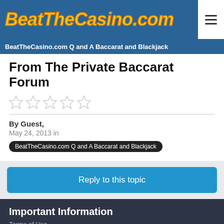BeatTheCasino.com
BeatTheCasino.com Q and A Baccarat and Blackjack
From The Private Baccarat Forum
By Guest,
May 24, 2013 in BeatTheCasino.com Q and A Baccarat and Blackjack
Reply to this topic
Important Information
Terms of Use
✓ I accept